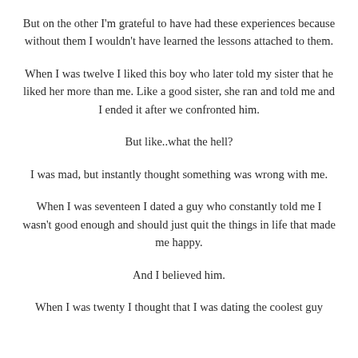But on the other I'm grateful to have had these experiences because without them I wouldn't have learned the lessons attached to them.
When I was twelve I liked this boy who later told my sister that he liked her more than me. Like a good sister, she ran and told me and I ended it after we confronted him.
But like..what the hell?
I was mad, but instantly thought something was wrong with me.
When I was seventeen I dated a guy who constantly told me I wasn't good enough and should just quit the things in life that made me happy.
And I believed him.
When I was twenty I thought that I was dating the coolest guy